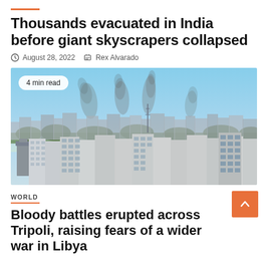Thousands evacuated in India before giant skyscrapers collapsed
August 28, 2022   Rex Alvarado
[Figure (photo): Cityscape with smoke rising from multiple points, wide view of dense urban buildings under hazy sky]
4 min read
WORLD
Bloody battles erupted across Tripoli, raising fears of a wider war in Libya